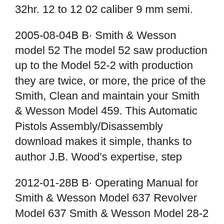32hr. 12 to 12 02 caliber 9 mm semi.
2005-08-04В В· Smith & Wesson model 52 The model 52 saw production up to the Model 52-2 with production they are twice, or more, the price of the Smith, Clean and maintain your Smith & Wesson Model 459. This Automatic Pistols Assembly/Disassembly download makes it simple, thanks to author J.B. Wood's expertise, step
2012-01-28В В· Operating Manual for Smith & Wesson Model 637 Revolver Model 637 Smith & Wesson Model 28-2 Highway Patrolman.357 Mag 6" *Pre Manuals & User вЂ¦ Smith & Wesson Manual - Model 41 - Download as PDF File (.pdf), Text File (.txt) or read online.